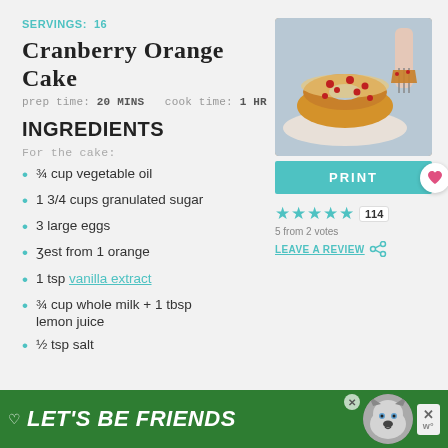SERVINGS: 16
Cranberry Orange Cake
prep time: 20 MINS   cook time: 1 HR
INGREDIENTS
For the cake:
[Figure (photo): Cranberry orange bundt cake with glaze and fresh cranberries on a plate, being cut with a fork]
¾ cup vegetable oil
1 3/4 cups granulated sugar
3 large eggs
zest from 1 orange
1 tsp vanilla extract
¾ cup whole milk + 1 tbsp lemon juice
½ tsp salt
PRINT
5 from 2 votes
LEAVE A REVIEW
LET'S BE FRIENDS